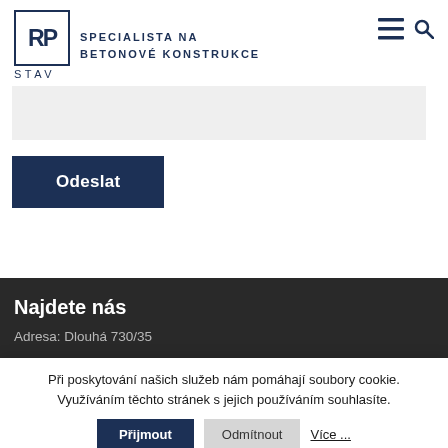[Figure (logo): RP STAV logo with square border containing 'RP' letters, 'STAV' below, and tagline 'SPECIALISTA NA BETONOVÉ KONSTRUKCE' to the right]
Odeslat
Najdete nás
Adresa: Dlouhá 730/35
Při poskytování našich služeb nám pomáhají soubory cookie. Využíváním těchto stránek s jejich používáním souhlasíte.
Přijmout
Odmítnout
Více ...